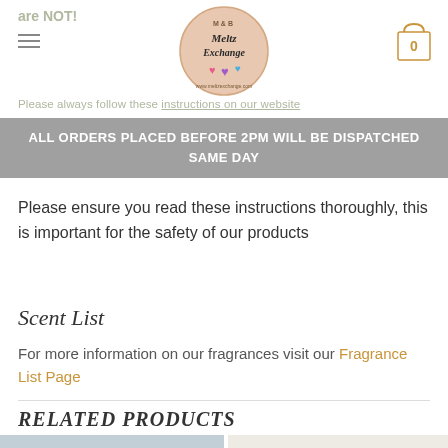are NOT!
Please always follow these instructions on our website
ALL ORDERS PLACED BEFORE 2PM WILL BE DISPATCHED SAME DAY
Please ensure you read these instructions thoroughly, this is important for the safety of our products
Scent List
For more information on our fragrances visit our Fragrance List Page
RELATED PRODUCTS
[Figure (photo): Two product photos side by side: left shows a light blue product image, right shows a cream/white product image]